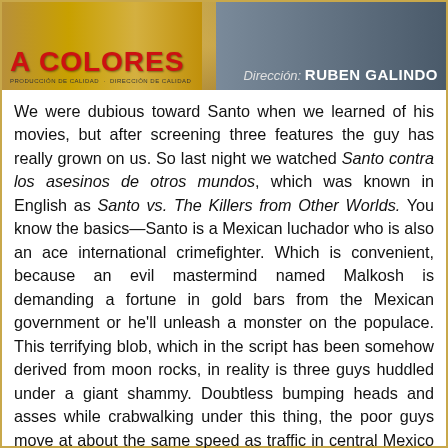[Figure (photo): Movie banner/poster showing 'A COLORES' in large red text on the left side with golden/brown background, and 'Dirección: RUBEN GALINDO' on the right side with a dark blue/grey background showing figures.]
We were dubious toward Santo when we learned of his movies, but after screening three features the guy has really grown on us. So last night we watched Santo contra los asesinos de otros mundos, which was known in English as Santo vs. The Killers from Other Worlds. You know the basics—Santo is a Mexican luchador who is also an ace international crimefighter. Which is convenient, because an evil mastermind named Malkosh is demanding a fortune in gold bars from the Mexican government or he'll unleash a monster on the populace. This terrifying blob, which in the script has been somehow derived from moon rocks, in reality is three guys huddled under a giant shammy. Doubtless bumping heads and asses while crabwalking under this thing, the poor guys move at about the same speed as traffic in central Mexico City. But no matter—the blob is a whiz at triangulation, and its victims are agility challenged. Whoever it chases inevitably finds himself or herself trapped and, after